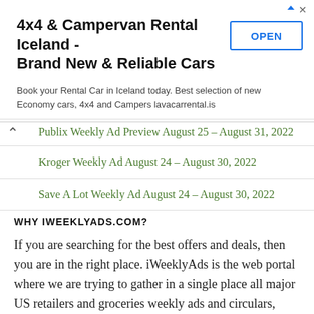[Figure (other): Advertisement banner for 4x4 & Campervan Rental Iceland with OPEN button]
Publix Weekly Ad Preview August 25 – August 31, 2022
Kroger Weekly Ad August 24 – August 30, 2022
Save A Lot Weekly Ad August 24 – August 30, 2022
WHY IWEEKLYADS.COM?
If you are searching for the best offers and deals, then you are in the right place. iWeeklyAds is the web portal where we are trying to gather in a single place all major US retailers and groceries weekly ads and circulars, posting their latest offers, promo, coupons and deals.